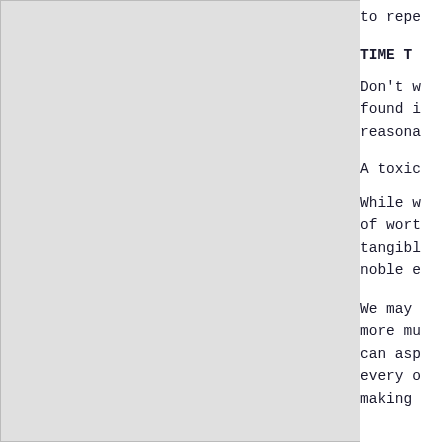to repe…
TIME T…
Don't w…
found i…
reasons…
A toxic…
While w…
of wort…
tangibl…
noble e…
We may …
more mu…
can asp…
every o…
making …